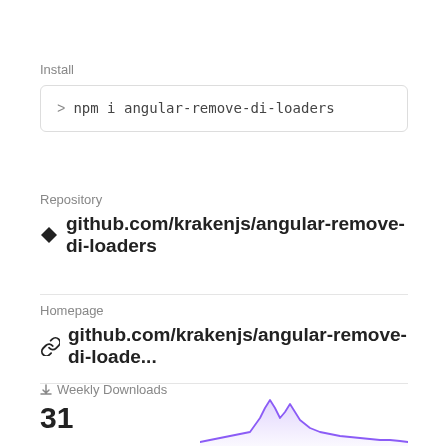Install
> npm i angular-remove-di-loaders
Repository
github.com/krakenjs/angular-remove-di-loaders
Homepage
github.com/krakenjs/angular-remove-di-loade...
Weekly Downloads
31
[Figure (area-chart): Weekly downloads area chart showing download activity over time with peaks, rendered in purple/violet color]